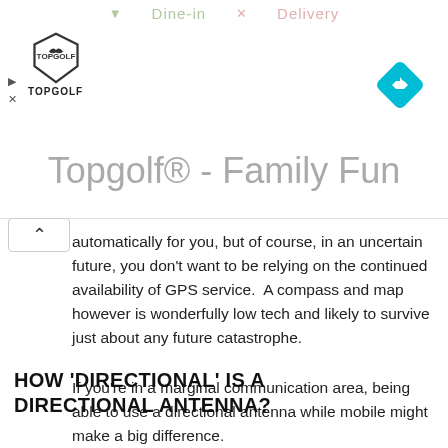[Figure (other): Advertisement banner for Topgolf showing logo, blue diamond navigation icon, and title text 'Topgolf® - Family Fun' with dine-in/delivery faded options at top and a play/close control on the left]
automatically for you, but of course, in an uncertain future, you don't want to be relying on the continued availability of GPS service.  A compass and map however is wonderfully low tech and likely to survive just about any future catastrophe.
If you're in a marginal communication area, being able to use a directional antenna while mobile might make a big difference.
HOW 'DIRECTIONAL' IS A DIRECTIONAL ANTENNA?